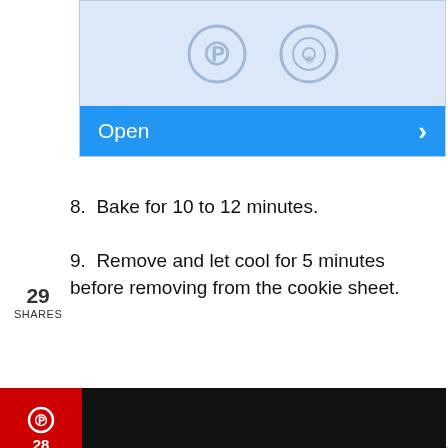[Figure (screenshot): Screenshot of a mobile app or website with two circular icons and a blue 'Open' button]
8. Bake for 10 to 12 minutes.
9. Remove and let cool for 5 minutes before removing from the cookie sheet.
[Figure (infographic): Social share widget with 29 SHARES counter, Pinterest (28), Facebook (1), and Twitter buttons on the left side]
[Figure (infographic): Black call-to-action box with Facebook icon: 'Did you make this recipe? Please leave a comment on the blog or share a photo on Facebook']
© Jamela Payne